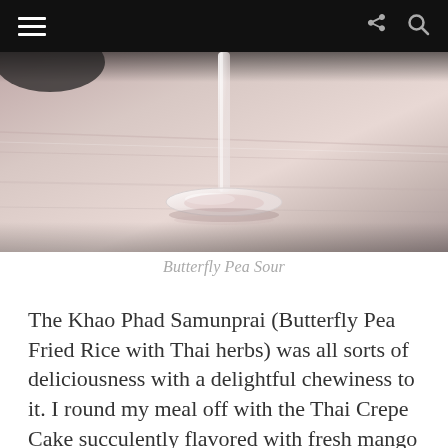≡  ↪  🔍
[Figure (photo): Close-up photo of the base and stem of a wine glass on a pink/rose-toned wooden surface, with soft bokeh background]
Butterfly Pea Sour
The Khao Phad Samunprai (Butterfly Pea Fried Rice with Thai herbs) was all sorts of deliciousness with a delightful chewiness to it. I round my meal off with the Thai Crepe Cake succulently flavored with fresh mango alongside the best Thai version of coconut ice-